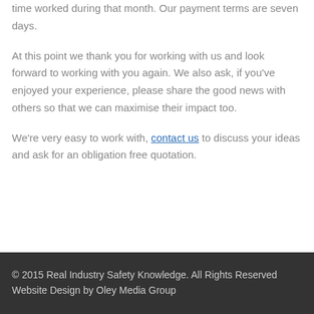time worked during that month. Our payment terms are seven days.
At this point we thank you for working with us and look forward to working with you again. We also ask, if you've enjoyed your experience, please share the good news with others so that we can maximise their impact too.
We're very easy to work with, contact us to discuss your ideas and ask for an obligation free quotation.
© 2015 Real Industry Safety Knowledge. All Rights Reserved | Website Design by Oley Media Group